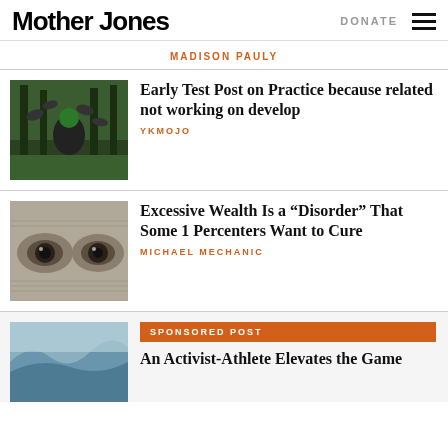Mother Jones
DONATE
MADISON PAULY
Early Test Post on Practice because related not working on develop
YKMOJO
[Figure (photo): Person with green hair surrounded by birds in a forest]
Excessive Wealth Is a “Disorder” That Some 1 Percenters Want to Cure
MICHAEL MECHANIC
[Figure (photo): Close-up of eyes engraved on currency]
SPONSORED POST
An Activist-Athlete Elevates the Game
[Figure (photo): Ocean wave photo]